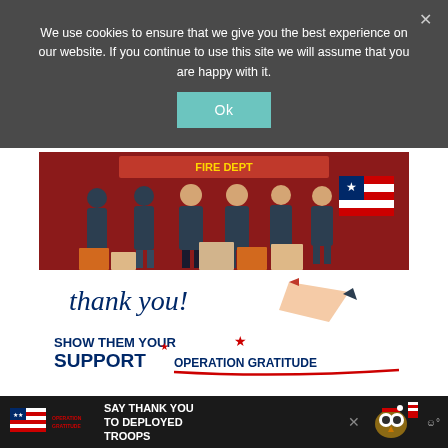We use cookies to ensure that we give you the best experience on our website. If you continue to use this site we will assume that you are happy with it.
[Figure (screenshot): Operation Gratitude promotional image showing firefighters/military personnel in front of a fire truck with boxes of supplies and patriotic pencil illustration, with 'thank you!' script text, 'SHOW THEM YOUR SUPPORT' and 'OPERATION GRATITUDE' text]
[Figure (screenshot): Operation Gratitude advertisement banner at bottom: logo on left, 'SAY THANK YOU TO DEPLOYED TROOPS' text in center, patriotic owl graphic, close X button, and weather icon on right]